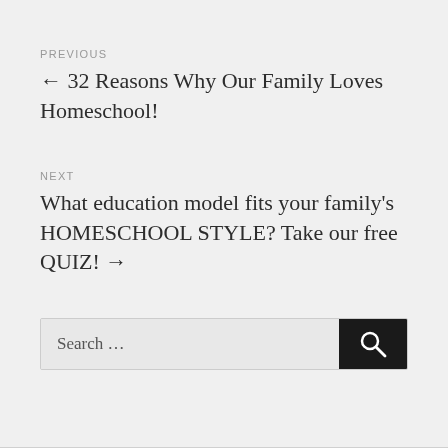PREVIOUS
← 32 Reasons Why Our Family Loves Homeschool!
NEXT
What education model fits your family's HOMESCHOOL STYLE? Take our free QUIZ! →
[Figure (screenshot): Search bar with text 'Search ...' and a dark search button with magnifying glass icon]